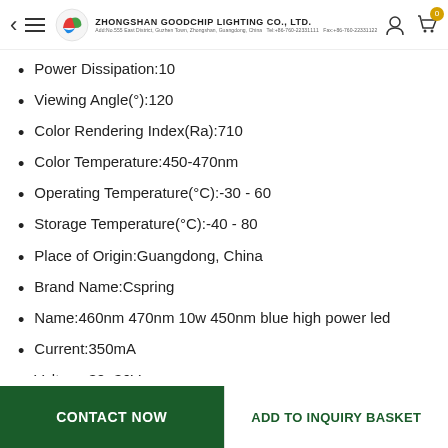Zhongshan Goodchip Lighting Co., Ltd.
Power Dissipation:10
Viewing Angle(°):120
Color Rendering Index(Ra):710
Color Temperature:450-470nm
Operating Temperature(°C):-30 - 60
Storage Temperature(°C):-40 - 80
Place of Origin:Guangdong, China
Brand Name:Cspring
Name:460nm 470nm 10w 450nm blue high power led
Current:350mA
Voltage:30~36V
Warranty:2 Years
Lifespan:30000-50000hours
CONTACT NOW | ADD TO INQUIRY BASKET